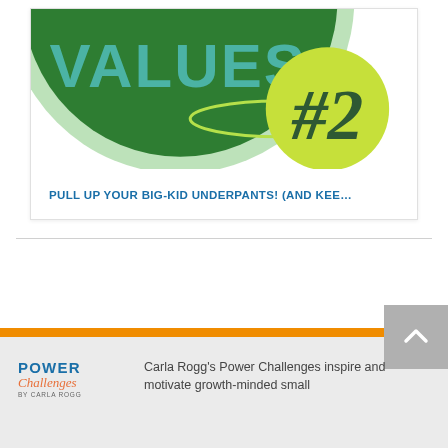[Figure (illustration): Graphic showing a large green circle with 'VALUES' text in teal, a smaller yellow-green circle with '#2' in dark green, on a light background. Partially cropped.]
PULL UP YOUR BIG-KID UNDERPANTS! (AND KEE...
[Figure (logo): Power Challenges by Carla Rogg logo — POWER in blue bold, Challenges in orange italic script, by Carla Rogg in small gray text below]
Carla Rogg's Power Challenges inspire and motivate growth-minded small